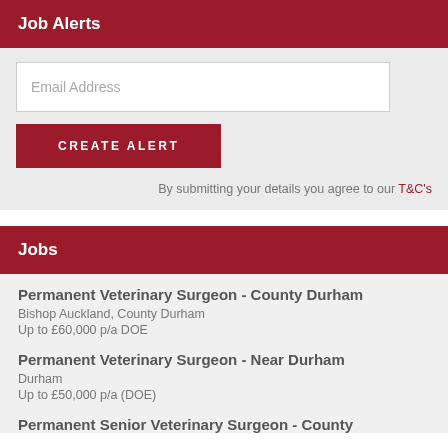Job Alerts
Email Address
CREATE ALERT
By submitting your details you agree to our T&C's
Jobs
Permanent Veterinary Surgeon - County Durham
Bishop Auckland, County Durham
Up to £60,000 p/a DOE
Permanent Veterinary Surgeon - Near Durham
Durham
Up to £50,000 p/a (DOE)
Permanent Senior Veterinary Surgeon - County